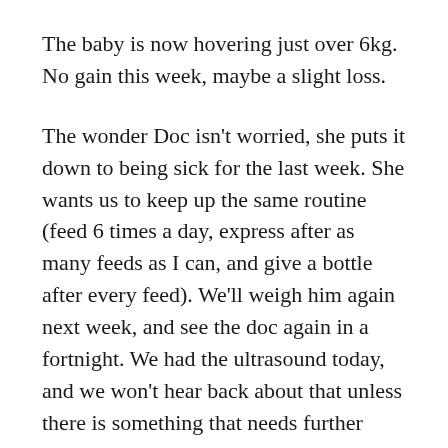The baby is now hovering just over 6kg. No gain this week, maybe a slight loss.
The wonder Doc isn't worried, she puts it down to being sick for the last week. She wants us to keep up the same routine (feed 6 times a day, express after as many feeds as I can, and give a bottle after every feed). We'll weigh him again next week, and see the doc again in a fortnight. We had the ultrasound today, and we won't hear back about that unless there is something that needs further investigation.
Apparently it's to be expected that he will have this cold for a while, and that his appetite will be a bit low while he is sick. It might also make